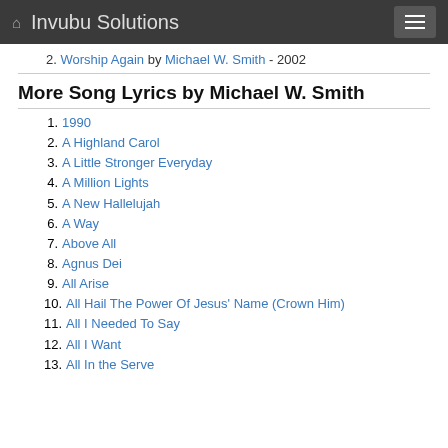Invubu Solutions
2. Worship Again by Michael W. Smith - 2002
More Song Lyrics by Michael W. Smith
1. 1990
2. A Highland Carol
3. A Little Stronger Everyday
4. A Million Lights
5. A New Hallelujah
6. A Way
7. Above All
8. Agnus Dei
9. All Arise
10. All Hail The Power Of Jesus' Name (Crown Him)
11. All I Needed To Say
12. All I Want
13. All In the Serve